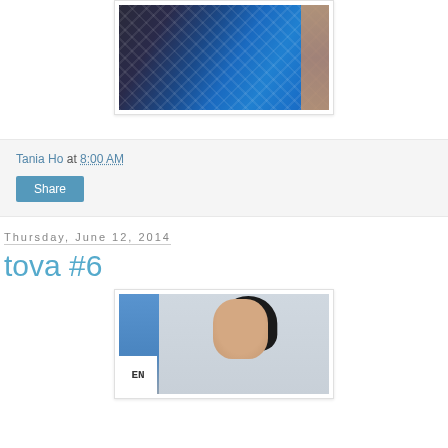[Figure (photo): Person wearing a blue and dark knitted garment with geometric pattern, arm visible on right side]
Tania Ho at 8:00 AM
Share
Thursday, June 12, 2014
tova #6
[Figure (photo): Asian woman with dark hair looking upward, standing in front of a light-colored wall with a blue object and sign on the left]